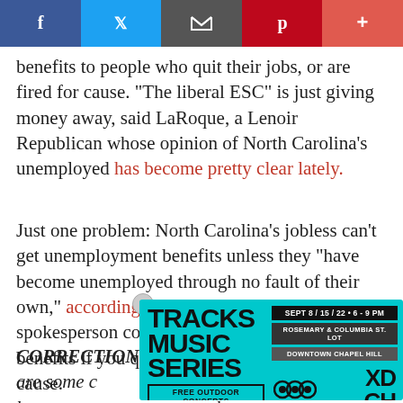[Figure (other): Social media sharing bar with Facebook, Twitter, email, Pinterest, and plus buttons]
benefits to people who quit their jobs, or are fired for cause. "The liberal ESC" is just giving money away, said LaRoque, a Lenoir Republican whose opinion of North Carolina's unemployed has become pretty clear lately.
Just one problem: North Carolina's jobless can't get unemployment benefits unless they "have become unemployed through no fault of their own," according to the ESC's Web site. An ESC spokesperson confirmed that, yes, that means no benefits if you quit your job, or get fired for cause.
CORRECTION: It's not quite that simple. There are some c... and still get be... another... you've quit yo... lt, so
[Figure (other): Advertisement overlay for Tracks Music Series: Sept 8/15/22, 6-9 PM, Rosemary & Columbia St. Lot, Downtown Chapel Hill, Free Outdoor Concerts, Community Arts & Culture, XDCH logos]